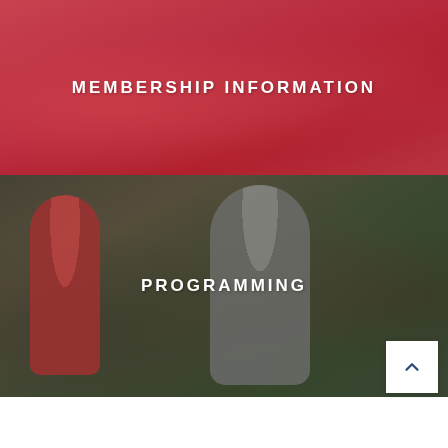[Figure (photo): Photo of people on exercise bikes in a spin/cycling class, overlaid with a red tint. Text 'MEMBERSHIP INFORMATION' centered over the image in white bold uppercase letters.]
MEMBERSHIP INFORMATION
[Figure (photo): Photo of people working out in a gym, with a dark green/teal tint overlay. A man in the center is lifting a heavy barbell or weight. Text 'PROGRAMMING' centered over the image in white bold uppercase letters.]
PROGRAMMING